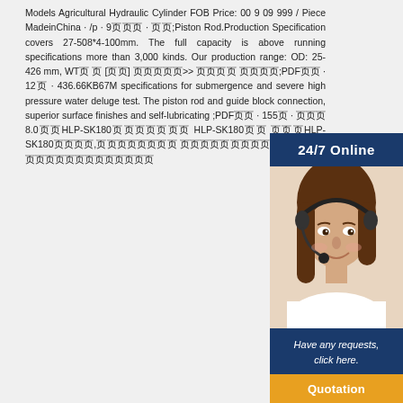Models Agricultural Hydraulic Cylinder FOB Price: 00 9 09 999 / Piece MadeinChina · /p · 9页页页 · 页页;Piston Rod.Production Specification covers 27-508*4-100mm. The full capacity is above running specifications more than 3,000 kinds. Our production range: OD: 25-426 mm, WT页 页 [页页] 页页页页页>> 页页页页 页页页页;PDF页页 · 12页 · 436.66KB67M specifications for submergence and severe high pressure water deluge test. The piston rod and guide block connection, superior surface finishes and self-lubricating ;PDF页页 · 155页 · 页页页8.0页页HLP-SK180页页页页页页页 HLP-SK180页页 页页页HLP-SK180页页页页,页页页页页页页页 页页页页页页页页页页页页页 页,页页页页页页页页页
[Figure (photo): Customer service representative wearing a headset, smiling, with '24/7 Online' header, 'Have any requests, click here.' text and 'Quotation' button]